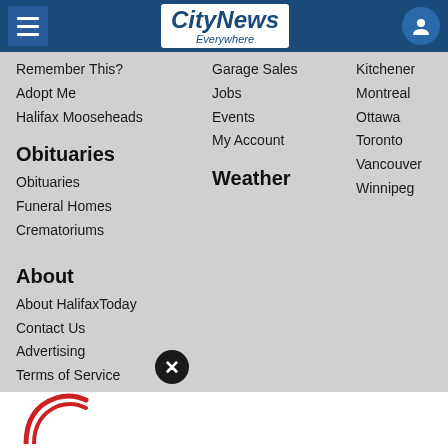CityNews Everywhere
Remember This?
Adopt Me
Halifax Mooseheads
Obituaries
Obituaries
Funeral Homes
Crematoriums
About
About HalifaxToday
Contact Us
Advertising
Terms of Service
Privacy Policy
MAILBOX 🔲
Community Guidelines
Community Leaders Program
Garage Sales
Jobs
Events
My Account
Weather
Kitchener
Montreal
Ottawa
Toronto
Vancouver
Winnipeg